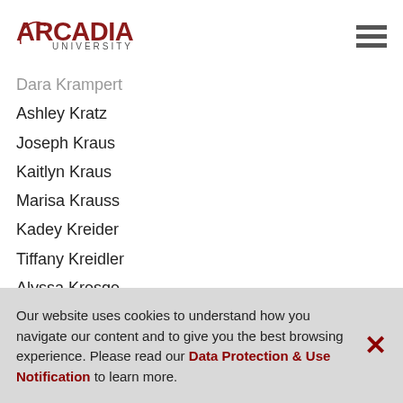Arcadia University
Dara Krampert
Ashley Kratz
Joseph Kraus
Kaitlyn Kraus
Marisa Krauss
Kadey Kreider
Tiffany Kreidler
Alyssa Kresge
Nicole Kress
Aidan Kromer
Riley Krumenacker
Sarah Ktytor
Samantha Ku
Alexander Kuchnicki
Our website uses cookies to understand how you navigate our content and to give you the best browsing experience. Please read our Data Protection & Use Notification to learn more.